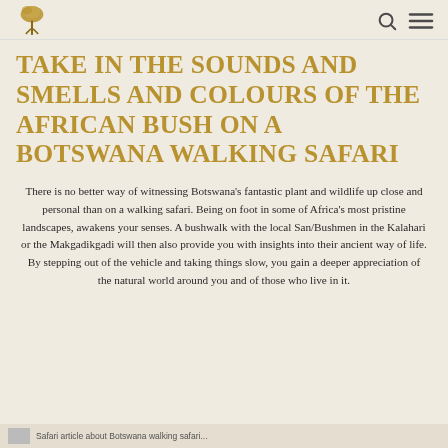[Logo] [Search icon] [Menu icon]
TAKE IN THE SOUNDS AND SMELLS AND COLOURS OF THE AFRICAN BUSH ON A BOTSWANA WALKING SAFARI
There is no better way of witnessing Botswana's fantastic plant and wildlife up close and personal than on a walking safari. Being on foot in some of Africa's most pristine landscapes, awakens your senses. A bushwalk with the local San/Bushmen in the Kalahari or the Makgadikgadi will then also provide you with insights into their ancient way of life. By stepping out of the vehicle and taking things slow, you gain a deeper appreciation of the natural world around you and of those who live in it.
Safari article about Botswana walking safari...